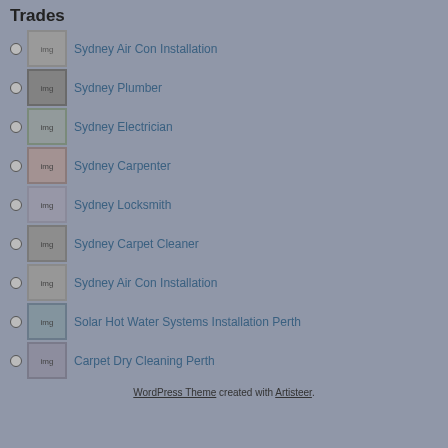Trades
Sydney Air Con Installation
Sydney Plumber
Sydney Electrician
Sydney Carpenter
Sydney Locksmith
Sydney Carpet Cleaner
Sydney Air Con Installation
Solar Hot Water Systems Installation Perth
Carpet Dry Cleaning Perth
WordPress Theme created with Artisteer.